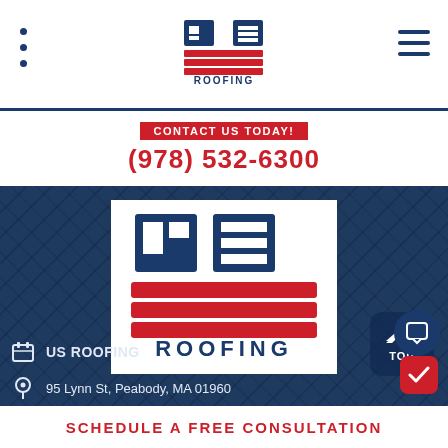[Figure (logo): US Roofing logo in navigation bar — blue block letters US over red stripes with ROOFING text below]
CONTACT US TODAY!
(978) 532-6300
[Figure (logo): US Roofing logo on white card background in blue section — large US block letters with red stripes and ROOFING below]
US ROOFING
95 Lynn St, Peabody, MA 01960
(978) 532 6300
7am-5pm M-F
SCHEDULE A FREE CONSULTATION